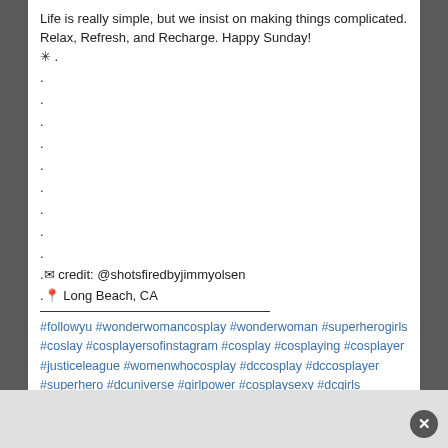Life is really simple, but we insist on making things complicated. Relax, Refresh, and Recharge. Happy Sunday! ✳ .
.
.
.
.
.
.
.
.
.
.
.✉ credit: @shotsfiredbyjimmyolsen
.📍 Long Beach, CA
#followyu #wonderwomancosplay #wonderwoman #superherogirls #coslay #cosplayersofinstagram #cosplay #cosplaying #cosplayer #justiceleague #womenwhocosplay #dccosplay #dccosplayer #superhero #dcuniverse #girlpower #cosplaysexy #dcgirls #girlswhocosplay #dianaprince #cosplaymuse #bestofcosplay #wonderfulworldofcosplay #dccomics #sundaymorning #thankful #longbeach